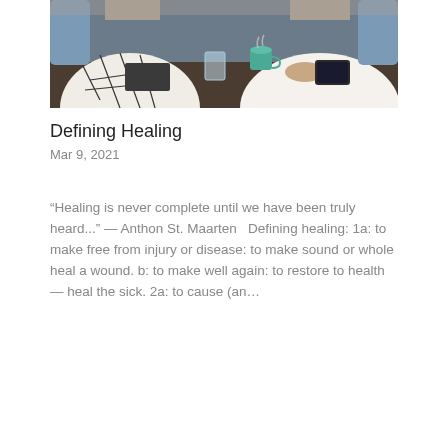[Figure (photo): Two people sitting at a table, one holding a coffee cup; documents and a tablet visible on the table; blurred cafe-style background.]
Defining Healing
Mar 9, 2021
“Healing is never complete until we have been truly heard...” — Anthon St. Maarten   Defining healing: 1a: to make free from injury or disease: to make sound or whole heal a wound. b: to make well again: to restore to health — heal the sick. 2a: to cause (an…